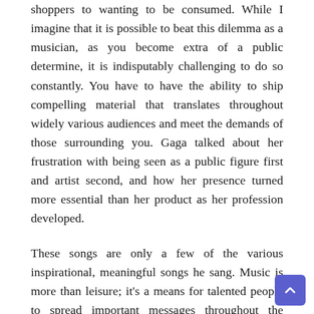shoppers to wanting to be consumed. While I imagine that it is possible to beat this dilemma as a musician, as you become extra of a public determine, it is indisputably challenging to do so constantly. You have to have the ability to ship compelling material that translates throughout widely various audiences and meet the demands of those surrounding you. Gaga talked about her frustration with being seen as a public figure first and artist second, and how her presence turned more essential than her product as her profession developed.
These songs are only a few of the various inspirational, meaningful songs he sang. Music is more than leisure; it's a means for talented people to spread important messages throughout the world.
Visit the chapter 13 on the net useful resource to discover more about dance and drill teams. Over the final decade, reality dance reveals corresponding to So You Think You Can Dance and Dancing With the Stars have expanded